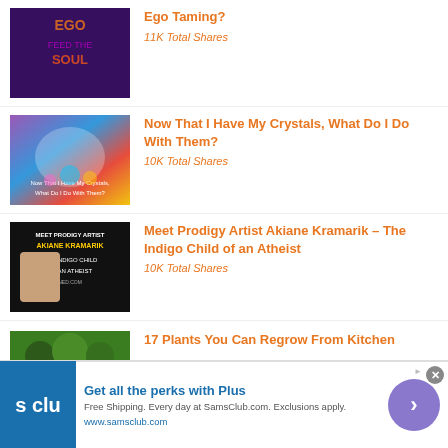Ego Taming? — 11K Total Shares
Now That I Have My Crystals, What Do I Do With Them? — 10K Total Shares
Meet Prodigy Artist Akiane Kramarik – The Indigo Child of an Atheist — 10K Total Shares
17 Plants You Can Regrow From Kitchen...
[Figure (screenshot): Advertisement banner for SamsClub.com Plus membership: 'Get all the perks with Plus. Free Shipping. Every day at SamsClub.com. Exclusions apply. www.samsclub.com']